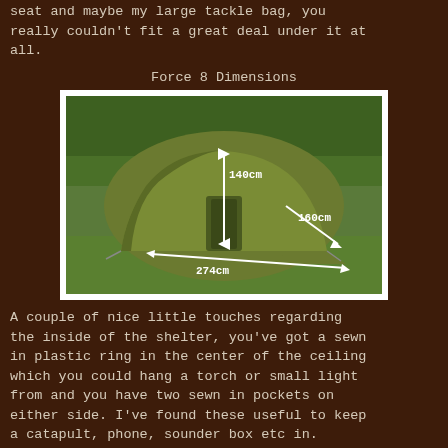seat and maybe my large tackle bag, you really couldn't fit a great deal under it at all.
Force 8 Dimensions
[Figure (photo): A green dome-style fishing/camping shelter (Force 8) set up on a lawn with trees in background. White arrows indicate dimensions: 140cm height, 160cm width, 274cm depth/length.]
A couple of nice little touches regarding the inside of the shelter, you've got a sewn in plastic ring in the center of the ceiling which you could hang a torch or small light from and you have two sewn in pockets on either side. I've found these useful to keep a catapult, phone, sounder box etc in. Another nice touch is the option to open the